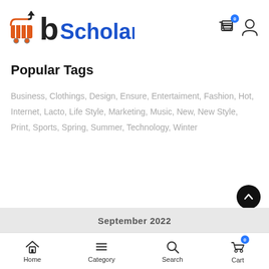[Figure (logo): bScholarly e-commerce logo with shopping cart and 'bScholarly' text]
Popular Tags
Business, Clothings, Design, Ensure, Entertaiment, Fashion, Hot, Internet, Lacto, Life Style, Marketing, Music, New, New Style, Print, Sports, Spring, Summer, Technology, Winter
September 2022
Home  Category  Search  Cart